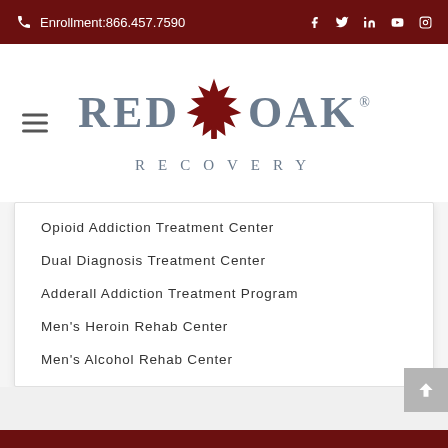Enrollment:866.457.7590
[Figure (logo): Red Oak Recovery logo with red maple leaf between RED and OAK text, with RECOVERY below in spaced letters]
Opioid Addiction Treatment Center
Dual Diagnosis Treatment Center
Adderall Addiction Treatment Program
Men's Heroin Rehab Center
Men's Alcohol Rehab Center